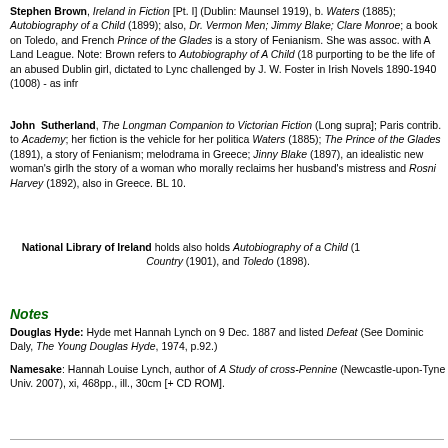Stephen Brown, Ireland in Fiction [Pt. I] (Dublin: Maunsel 1919), b. Waters (1885); Autobiography of a Child (1899); also, Dr. Vermont Men; Jimmy Blake; Clare Monroe; a book on Toledo, and French Prince of the Glades is a story of Fenianism. She was assoc. with A Land League. Note: Brown refers to Autobiography of A Child (18 purporting to be the life of an abused Dublin girl, dictated to Lynch challenged by J. W. Foster in Irish Novels 1890-1940 (1008) - as infr
John Sutherland, The Longman Companion to Victorian Fiction (Long supra]; Paris contrib. to Academy; her fiction is the vehicle for her politica Waters (1885); The Prince of the Glades (1891), a story of Fenianism; melodrama in Greece; Jinny Blake (1897), an idealistic new woman's girlh the story of a woman who morally reclaims her husband's mistress and Rosni Harvey (1892), also in Greece. BL 10.
National Library of Ireland holds also holds Autobiography of a Child (1 Country (1901), and Toledo (1898).
Notes
Douglas Hyde: Hyde met Hannah Lynch on 9 Dec. 1887 and listed Defeat (See Dominic Daly, The Young Douglas Hyde, 1974, p.92.)
Namesake: Hannah Louise Lynch, author of A Study of cross-Pennine (Newcastle-upon-Tyne Univ. 2007), xi, 468pp., ill., 30cm [+ CD ROM].